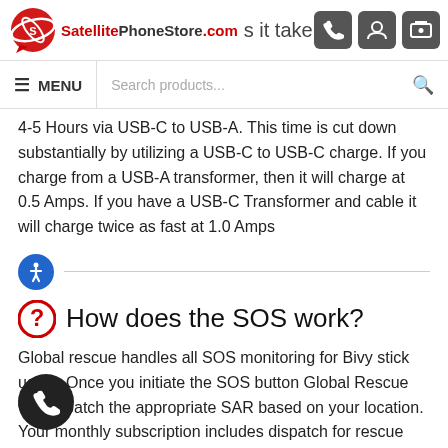SatellitePhoneStore.com — How long does it take to charge a the Bivy Stick?
4-5 Hours via USB-C to USB-A. This time is cut down substantially by utilizing a USB-C to USB-C charge. If you charge from a USB-A transformer, then it will charge at 0.5 Amps. If you have a USB-C Transformer and cable it will charge twice as fast at 1.0 Amps
How does the SOS work?
Global rescue handles all SOS monitoring for Bivy stick users. Once you initiate the SOS button Global Rescue will dispatch the appropriate SAR based on your location. Your monthly subscription includes dispatch for rescue anywhere in the world. You could be responsible for costs incurred from a rescue and you can purchase a Global Rescue